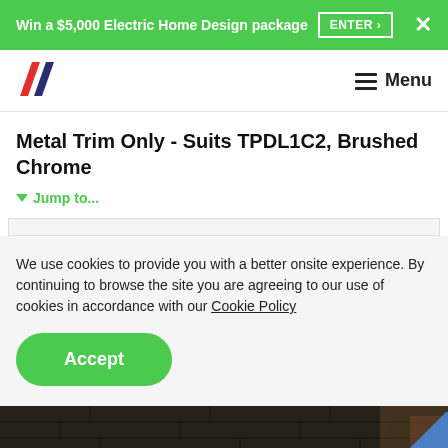Win a $5,000 Electric Home Design package  ENTER ›  ✕
[Figure (logo): Clipsal/HPM style double-slash logo in red and dark blue]
≡ Menu
Metal Trim Only - Suits TPDL1C2, Brushed Chrome
▼ Jump to...
We use cookies to provide you with a better onsite experience. By continuing to browse the site you are agreeing to our use of cookies in accordance with our Cookie Policy
Accept
[Figure (photo): Dark stone or brick wall texture background image]